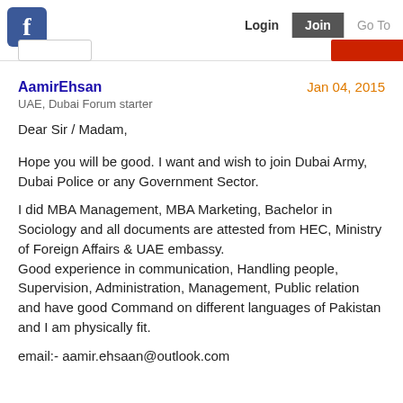f  Login  Join  Go To
AamirEhsan
Jan 04, 2015
UAE, Dubai Forum starter
Dear Sir / Madam,

Hope you will be good. I want and wish to join Dubai Army, Dubai Police or any Government Sector.

I did MBA Management, MBA Marketing, Bachelor in Sociology and all documents are attested from HEC, Ministry of Foreign Affairs & UAE embassy.
Good experience in communication, Handling people, Supervision, Administration, Management, Public relation and have good Command on different languages of Pakistan and I am physically fit.

email:- aamir.ehsaan@outlook.com